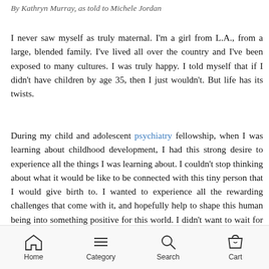By Kathryn Murray, as told to Michele Jordan
I never saw myself as truly maternal. I'm a girl from L.A., from a large, blended family. I've lived all over the country and I've been exposed to many cultures. I was truly happy. I told myself that if I didn't have children by age 35, then I just wouldn't. But life has its twists.
During my child and adolescent psychiatry fellowship, when I was learning about childhood development, I had this strong desire to experience all the things I was learning about. I couldn't stop thinking about what it would be like to be connected with this tiny person that I would give birth to. I wanted to experience all the rewarding challenges that come with it, and hopefully help to shape this human being into something positive for this world. I didn't want to wait for a partner. I've always tried to live my life by doing what I
Home  Category  Search  Cart